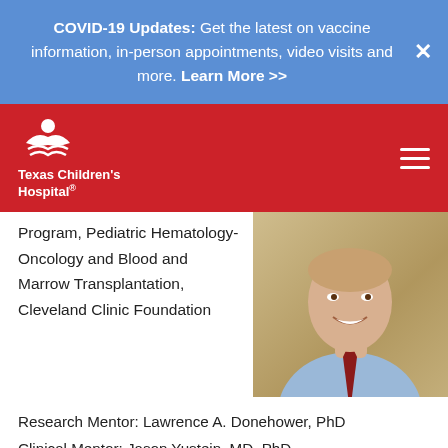COVID-19 Updates: Get the latest on vaccine information, in-person appointments, video visits and more. Learn More >>
[Figure (logo): Texas Children's Hospital logo — white icon and white text on red background, with hamburger menu icon on right]
Program, Pediatric Hematology-Oncology and Blood and Marrow Transplantation, Cleveland Clinic Foundation
[Figure (photo): Portrait photo of a smiling male doctor wearing a light blue shirt and a tie with red pattern, photographed against a neutral background]
Research Mentor: Lawrence A. Donehower, PhD
Clinical Mentor: Jason Yustein, MD, PhD
K12 Appointment: 7/2012-6/2015